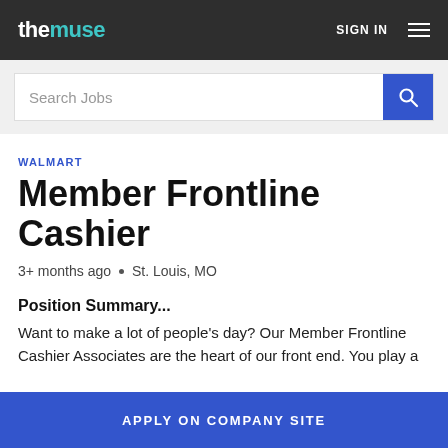themuse   SIGN IN
Search Jobs
WALMART
Member Frontline Cashier
3+ months ago • St. Louis, MO
Position Summary...
Want to make a lot of people's day? Our Member Frontline Cashier Associates are the heart of our front end. You play a
APPLY ON COMPANY SITE